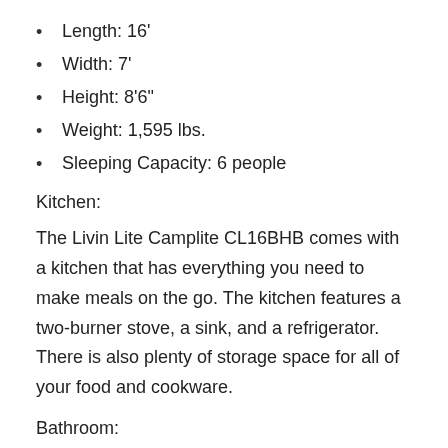Length: 16'
Width: 7'
Height: 8'6"
Weight: 1,595 lbs.
Sleeping Capacity: 6 people
Kitchen:
The Livin Lite Camplite CL16BHB comes with a kitchen that has everything you need to make meals on the go. The kitchen features a two-burner stove, a sink, and a refrigerator. There is also plenty of storage space for all of your food and cookware.
Bathroom:
The Camplite CL16BHB comes with a bathroom that features a shower, a toilet, and a sink. The bathroom also